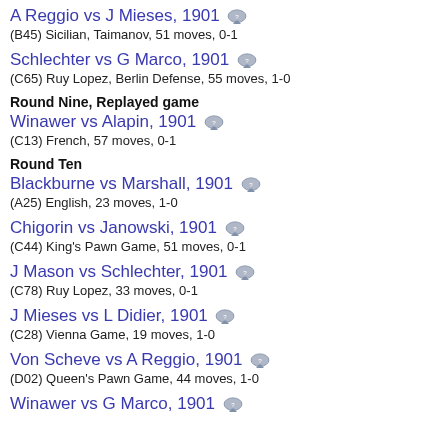A Reggio vs J Mieses, 1901
(B45) Sicilian, Taimanov, 51 moves, 0-1
Schlechter vs G Marco, 1901
(C65) Ruy Lopez, Berlin Defense, 55 moves, 1-0
Round Nine, Replayed game
Winawer vs Alapin, 1901
(C13) French, 57 moves, 0-1
Round Ten
Blackburne vs Marshall, 1901
(A25) English, 23 moves, 1-0
Chigorin vs Janowski, 1901
(C44) King's Pawn Game, 51 moves, 0-1
J Mason vs Schlechter, 1901
(C78) Ruy Lopez, 33 moves, 0-1
J Mieses vs L Didier, 1901
(C28) Vienna Game, 19 moves, 1-0
Von Scheve vs A Reggio, 1901
(D02) Queen's Pawn Game, 44 moves, 1-0
Winawer vs G Marco, 1901